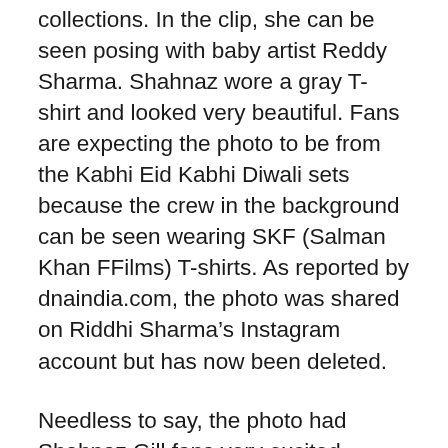collections. In the clip, she can be seen posing with baby artist Reddy Sharma. Shahnaz wore a gray T-shirt and looked very beautiful. Fans are expecting the photo to be from the Kabhi Eid Kabhi Diwali sets because the crew in the background can be seen wearing SKF (Salman Khan FFilms) T-shirts. As reported by dnaindia.com, the photo was shared on Riddhi Sharma’s Instagram account but has now been deleted.
Needless to say, the photo had Shahnaz Gill fans very excited. “100% confirmed news. This girl is a child artist of KEKD. She has worked in many extras and movies,” one fan wrote. Another social media user tweeted, “Star Shehnaaz Gill On The Set Of #KabhiEidKabhiDiwali Piche dekho piche SKF